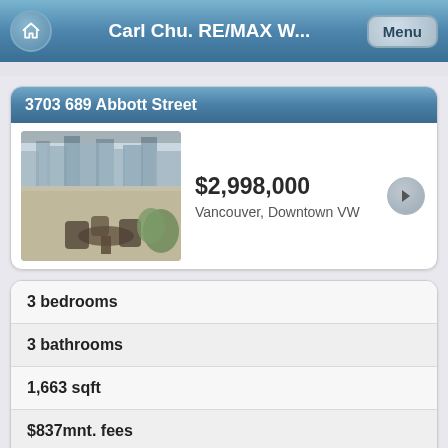Carl Chu. RE/MAX W...
3703 689 Abbott Street
$2,998,000
Vancouver, Downtown VW
[Figure (photo): Exterior/terrace photo of a high-rise apartment with outdoor furniture and city view]
3 bedrooms
3 bathrooms
1,663 sqft
$837mnt. fees
built in 2009
$5,275 taxes in 2021
Apartment